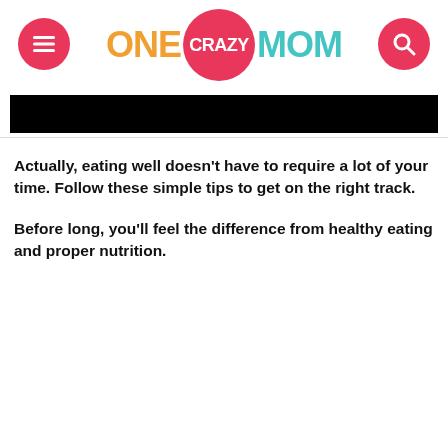[Figure (logo): One Crazy Mom website header logo with hamburger menu button on left and search button on right. ONE in orange, CRAZY in white on pink circle, MOM in teal.]
[Figure (photo): Black redacted/cropped image bar below the header.]
Actually, eating well doesn't have to require a lot of your time. Follow these simple tips to get on the right track.
Before long, you'll feel the difference from healthy eating and proper nutrition.